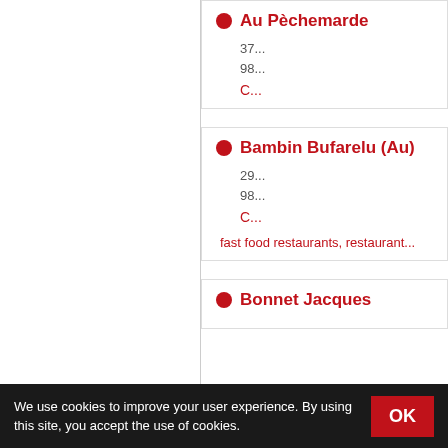Au Pèchemarde
37...
98...
C...
Bambin Bufarelu (Au)
29...
98...
C...
fast food restaurants, restaurant...
Bonnet Jacques
We use cookies to improve your user experience. By using this site, you accept the use of cookies.